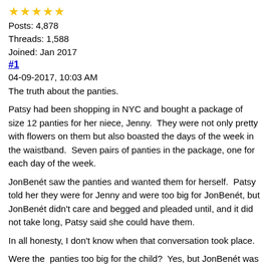★★★★★ (5 stars)
Posts: 4,878
Threads: 1,588
Joined: Jan 2017
#1
04-09-2017, 10:03 AM
The truth about the panties.
Patsy had been shopping in NYC and bought a package of size 12 panties for her niece, Jenny.  They were not only pretty with flowers on them but also boasted the days of the week in the waistband.  Seven pairs of panties in the package, one for each day of the week.
JonBenét saw the panties and wanted them for herself.  Patsy told her they were for Jenny and were too big for JonBenét, but JonBenét didn't care and begged and pleaded until, and it did not take long, Patsy said she could have them.
In all honesty, I don't know when that conversation took place.
Were the  panties too big for the child?  Yes, but JonBenét was in kindergarten and would have been learning the days of the week and would have been proud to know which panties to wear on what day.  The fact that they were "too big" clearly didn't bother her, and the fact that they were there, and she knew which ones to wear on that day...